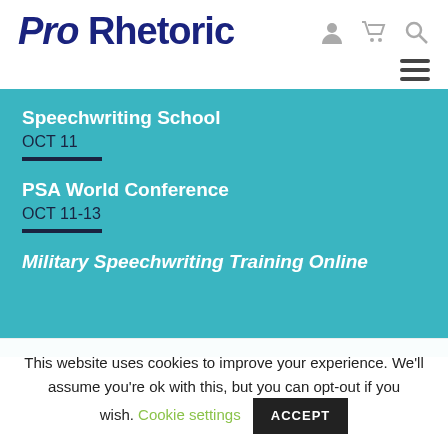Pro Rhetoric
Speechwriting School
OCT 11
PSA World Conference
OCT 11-13
Military Speechwriting Training Online
This website uses cookies to improve your experience. We'll assume you're ok with this, but you can opt-out if you wish. Cookie settings ACCEPT